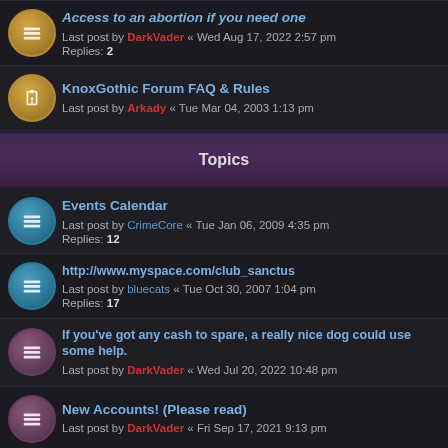Access to an abortion if you need one
Last post by DarkVader « Wed Aug 17, 2022 2:57 pm
Replies: 2
KnoxGothic Forum FAQ & Rules
Last post by Arkady « Tue Mar 04, 2003 1:13 pm
Topics
Events Calendar
Last post by CrimeCore « Tue Jan 06, 2009 4:35 pm
Replies: 12
http://www.myspace.com/club_sanctus
Last post by bluecats « Tue Oct 30, 2007 1:04 pm
Replies: 17
If you've got any cash to spare, a really nice dog could use some help.
Last post by DarkVader « Wed Jul 20, 2022 10:48 pm
New Accounts! (Please read)
Last post by DarkVader « Fri Sep 17, 2021 9:13 pm
Server upgrades - and downtime.
Last post by CZerr « Sun Apr 18, 2021 12:34 pm
Replies: 4